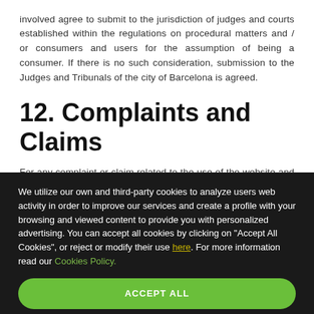involved agree to submit to the jurisdiction of judges and courts established within the regulations on procedural matters and / or consumers and users for the assumption of being a consumer. If there is no such consideration, submission to the Judges and Tribunals of the city of Barcelona is agreed.
12. Complaints and Claims
For any complaint or claim related to the use of the website and / or its services, as well as the services offered by Sant Pau...
We utilize our own and third-party cookies to analyze users web activity in order to improve our services and create a profile with your browsing and viewed content to provide you with personalized advertising. You can accept all cookies by clicking on "Accept All Cookies", or reject or modify their use here. For more information read our Cookies Policy.